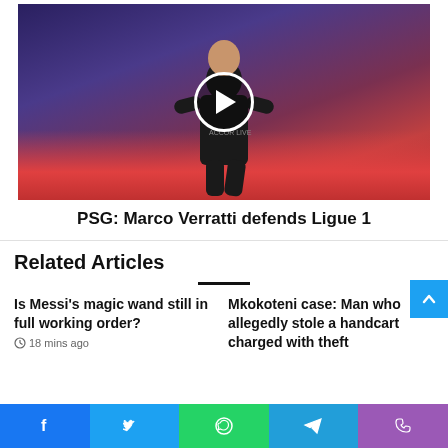[Figure (photo): Soccer player Marco Verratti in a black PSG jersey with Accor LiveNation branding, with a play button overlay, crowd with red seats in the background]
PSG: Marco Verratti defends Ligue 1
Related Articles
Is Messi's magic wand still in full working order?
Mkokoteni case: Man who allegedly stole a handcart charged with theft